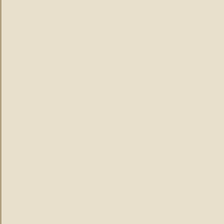Category: Live Radio Drama, Media | No Comment
Tags: Chicago Tribune, Crime Classics, Elgin Acad